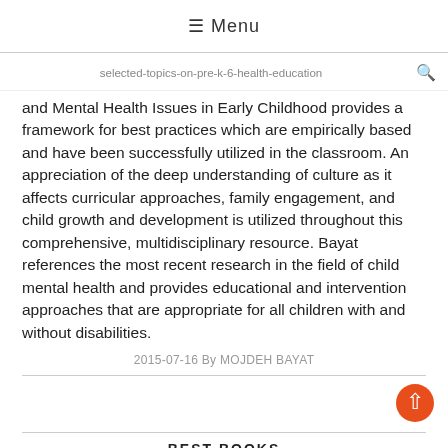☰ Menu
selected-topics-on-pre-k-6-health-education
and Mental Health Issues in Early Childhood provides a framework for best practices which are empirically based and have been successfully utilized in the classroom. An appreciation of the deep understanding of culture as it affects curricular approaches, family engagement, and child growth and development is utilized throughout this comprehensive, multidisciplinary resource. Bayat references the most recent research in the field of child mental health and provides educational and intervention approaches that are appropriate for all children with and without disabilities.
2015-07-16 By MOJDEH BAYAT
BEST BOOKS